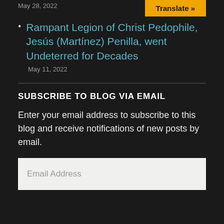May 28, 2022
Translate »
Rampant Legion of Christ Pedophile, Jesús (Martínez) Penilla, went Undeterred for Decades
May 11, 2022
SUBSCRIBE TO BLOG VIA EMAIL
Enter your email address to subscribe to this blog and receive notifications of new posts by email.
Email Address